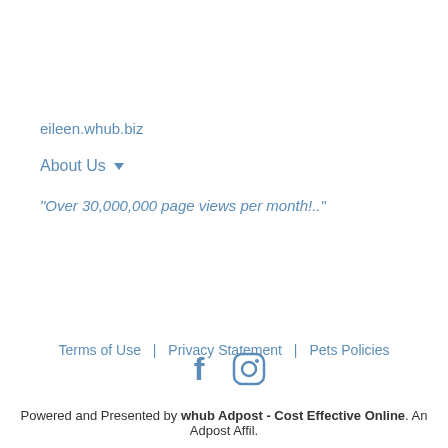eileen.whub.biz
About Us ▾
"Over 30,000,000 page views per month!.."
Terms of Use  |  Privacy Statement  |  Pets Policies
[Figure (other): Facebook and Instagram social media icons]
Powered and Presented by whub Adpost - Cost Effective Online. An Adpost Affil.